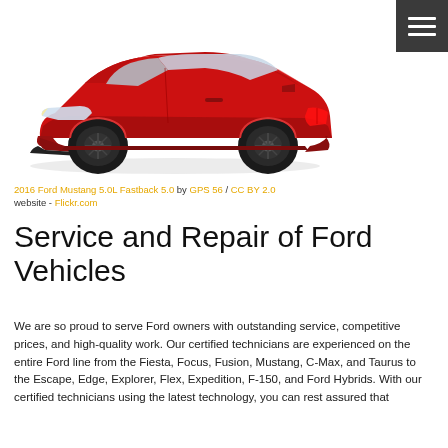[Figure (photo): Red 2016 Ford Mustang 5.0L Fastback photographed from the side against a white background]
2016 Ford Mustang 5.0L Fastback 5.0 by GPS 56 / CC BY 2.0
website - Flickr.com
Service and Repair of Ford Vehicles
We are so proud to serve Ford owners with outstanding service, competitive prices, and high-quality work. Our certified technicians are experienced on the entire Ford line from the Fiesta, Focus, Fusion, Mustang, C-Max, and Taurus to the Escape, Edge, Explorer, Flex, Expedition, F-150, and Ford Hybrids. With our certified technicians using the latest technology, you can rest assured that